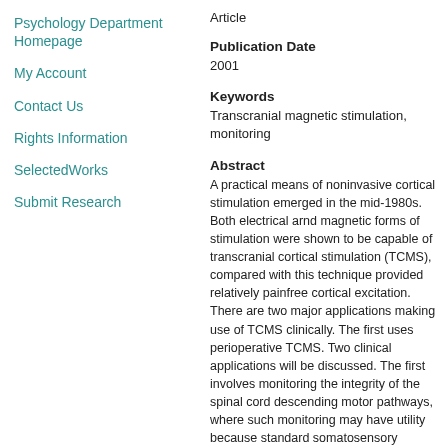Psychology Department Homepage
My Account
Contact Us
Rights Information
SelectedWorks
Submit Research
Article
Publication Date
2001
Keywords
Transcranial magnetic stimu... monitoring
Abstract
A practical means of noninva... mid-1980s. Both electrical ar... were shown to be capable o... stimulation (TCMS), compare... relatively painfree cortical ex... applications making use of T... perioperative TCMS. Two clin... discussed. The first involves ... of the spinal cord descendin... monitoring may have utility b... somatosensory evoked pote... motor deficits. The second a... localizing eloquent cortex in... areas functionally as they rel... planning a surgical approac...